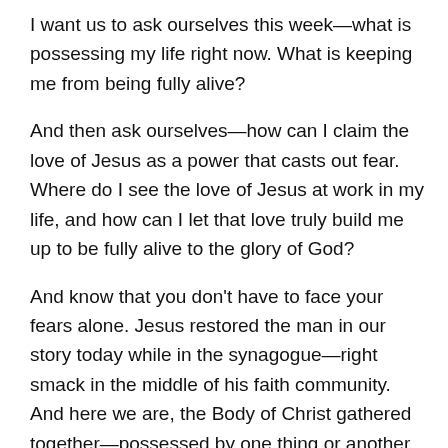I want us to ask ourselves this week—what is possessing my life right now. What is keeping me from being fully alive?
And then ask ourselves—how can I claim the love of Jesus as a power that casts out fear. Where do I see the love of Jesus at work in my life, and how can I let that love truly build me up to be fully alive to the glory of God?
And know that you don't have to face your fears alone. Jesus restored the man in our story today while in the synagogue—right smack in the middle of his faith community. And here we are, the Body of Christ gathered together—possessed by one thing or another at one time or another—but walking in Love together.
Knowledge puffs up, but love builds up. May the love of